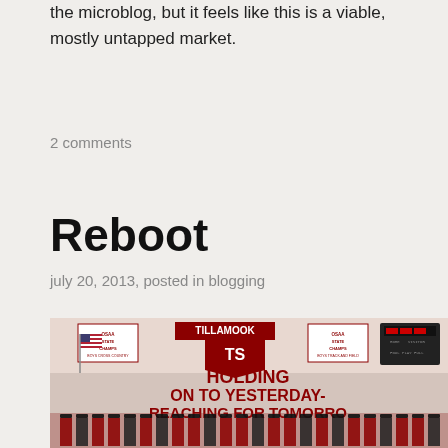the microblog, but it feels like this is a viable, mostly untapped market.
2 comments
Reboot
july 20, 2013, posted in blogging
[Figure (photo): A graduation ceremony photo in a school gymnasium. Students in red and black graduation gowns and caps are standing in rows. Behind them is a banner reading 'HOLDING ON TO YESTERDAY- REACHING FOR TOMORROW' and a Tillamook school logo/banner. US flag visible on the left. Scoreboard visible on upper right.]